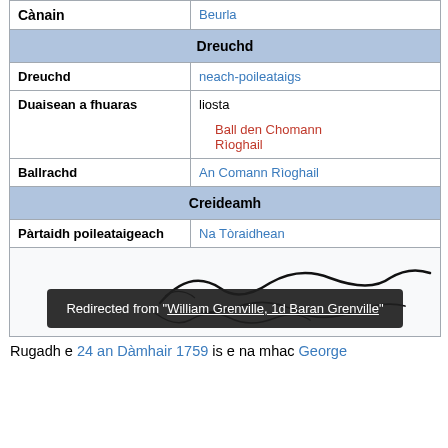| Cànain | Beurla |
| Dreuchd (section header) |  |
| Dreuchd | neach-poileataigs |
| Duaisean a fhuaras | liosta
Ball den Chomann Rìoghail |
| Ballrachd | An Comann Rìoghail |
| Creideamh (section header) |  |
| Pàrtaidh poileataigeach | Na Tòraidhean |
[Figure (illustration): Handwritten signature partially visible]
Redirected from "William Grenville, 1d Baran Grenville"
Rugadh e 24 an Dàmhair 1759 is e na mhac George